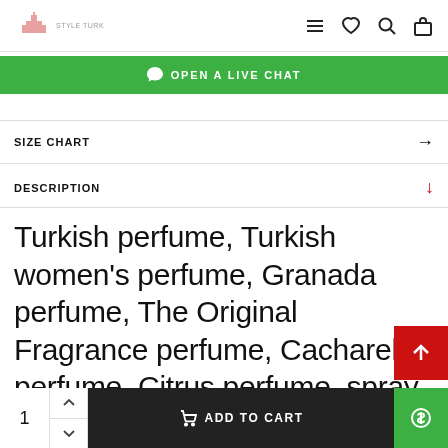Style Turk logo and navigation icons
OPEN A LIVE CHAT
SIZE CHART
DESCRIPTION
Turkish perfume, Turkish women's perfume, Granada perfume, The Original Fragrance perfume, Cacharel perfume, Citrus perfume, spray
1  ADD TO CART